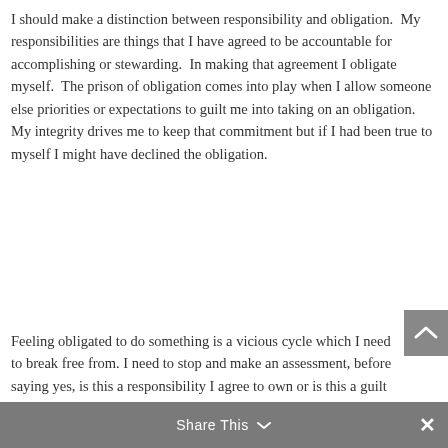I should make a distinction between responsibility and obligation.  My responsibilities are things that I have agreed to be accountable for accomplishing or stewarding.  In making that agreement I obligate myself.  The prison of obligation comes into play when I allow someone else priorities or expectations to guilt me into taking on an obligation.  My integrity drives me to keep that commitment but if I had been true to myself I might have declined the obligation.
Feeling obligated to do something is a vicious cycle which I need to break free from. I need to stop and make an assessment, before saying yes, is this a responsibility I agree to own or is this a guilt driven obligation.  Is this something I feel like I have to do, because it's expected of me, but not necessarily what I
Share This